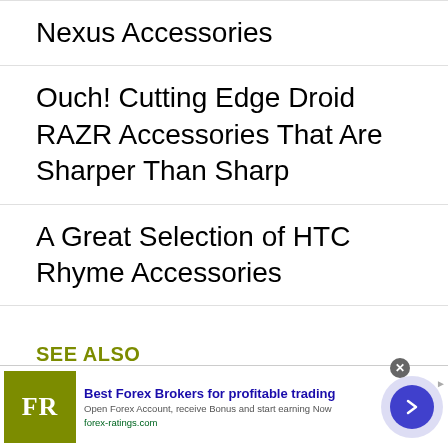Nexus Accessories
Ouch! Cutting Edge Droid RAZR Accessories That Are Sharper Than Sharp
A Great Selection of HTC Rhyme Accessories
SEE ALSO
[Figure (other): Advertisement banner for forex-ratings.com showing FR logo, text 'Best Forex Brokers for profitable trading', subtitle 'Open Forex Account, receive Bonus and start earning Now', URL 'forex-ratings.com', and a blue arrow button]